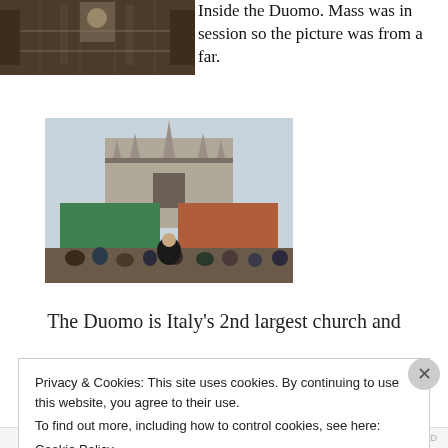[Figure (photo): Interior photo of the Duomo cathedral, showing ornate ceiling and architecture, taken from a distance]
Inside the Duomo. Mass was in session so the picture was from a far.
[Figure (photo): Exterior photo of the Milan Duomo cathedral with large billboard advertisements on scaffolding, and crowds of tourists in the piazza. A man poses in the foreground.]
The Duomo is Italy's 2nd largest church and
Privacy & Cookies: This site uses cookies. By continuing to use this website, you agree to their use.
To find out more, including how to control cookies, see here:
Cookie Policy
Close and accept